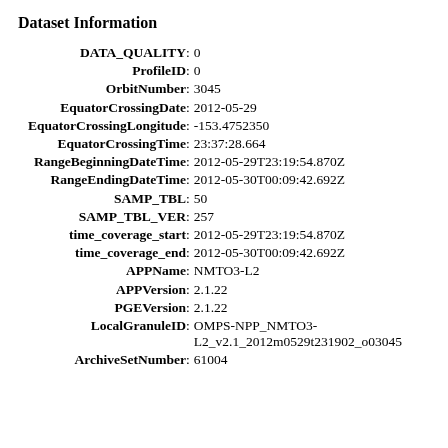Dataset Information
| Field | Value |
| --- | --- |
| DATA_QUALITY | 0 |
| ProfileID | 0 |
| OrbitNumber | 3045 |
| EquatorCrossingDate | 2012-05-29 |
| EquatorCrossingLongitude | -153.4752350 |
| EquatorCrossingTime | 23:37:28.664 |
| RangeBeginningDateTime | 2012-05-29T23:19:54.870Z |
| RangeEndingDateTime | 2012-05-30T00:09:42.692Z |
| SAMP_TBL | 50 |
| SAMP_TBL_VER | 257 |
| time_coverage_start | 2012-05-29T23:19:54.870Z |
| time_coverage_end | 2012-05-30T00:09:42.692Z |
| APPName | NMTO3-L2 |
| APPVersion | 2.1.22 |
| PGEVersion | 2.1.22 |
| LocalGranuleID | OMPS-NPP_NMTO3-L2_v2.1_2012m0529t231902_o03045 |
| ArchiveSetNumber | 61004 |